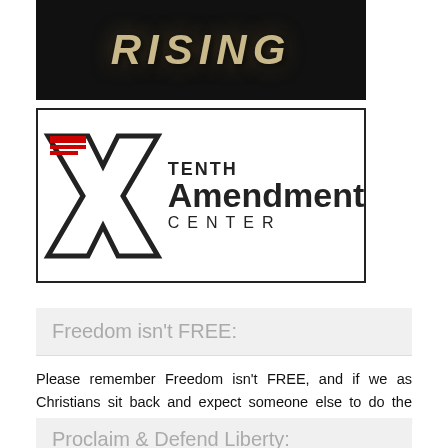[Figure (illustration): Dark banner image showing the word RISING in stylized golden/tan letters on a black/dark background]
[Figure (logo): Tenth Amendment Center logo: X shape with red striped flag element, text reading TENTH Amendment CENTER]
Freedom isn't FREE:
Please remember Freedom isn't FREE, and if we as Christians sit back and expect someone else to do the hard work in order to reap the benefits, then everyone of us including our children and grandchildren will pay the price with the loss of their LIBERTY.
Proclaim & Defend Liberty: